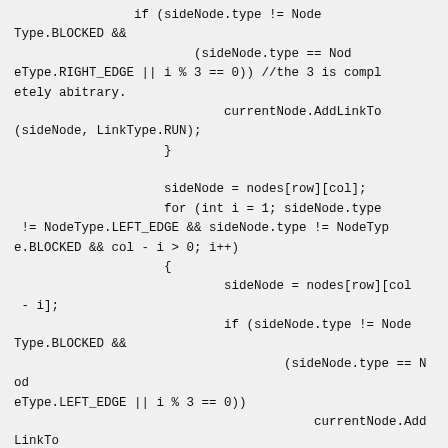if (sideNode.type != NodeType.BLOCKED &&
                        (sideNode.type == NodeType.RIGHT_EDGE || i % 3 == 0)) //the 3 is completely abitrary.
                            currentNode.AddLinkTo(sideNode, LinkType.RUN);
                    }

                    sideNode = nodes[row][col];
                    for (int i = 1; sideNode.type != NodeType.LEFT_EDGE && sideNode.type != NodeType.BLOCKED && col - i > 0; i++)
                    {
                            sideNode = nodes[row][col - i];
                            if (sideNode.type != NodeType.BLOCKED &&
                                    (sideNode.type == NodeType.LEFT_EDGE || i % 3 == 0))
                                        currentNode.AddLinkTo(sideNode, LinkType.RUN);
                    }
                }